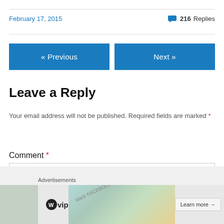February 17, 2015
216 Replies
« Previous
Next »
Leave a Reply
Your email address will not be published. Required fields are marked *
Comment *
[Figure (screenshot): Advertisement banner with WordPress VIP logo and 'Learn more →' button]
Advertisements